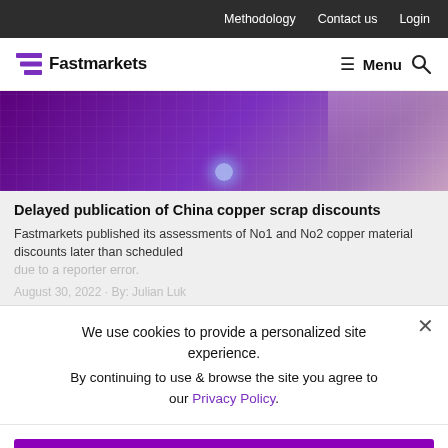Methodology  Contact us  Login
[Figure (logo): Fastmarkets logo with purple triple-bar icon and wordmark, with hamburger Menu and search icon on the right]
[Figure (photo): Purple-tinted hero image showing a digital trading screen with a hand, used as background for article about China copper scrap discounts]
Delayed publication of China copper scrap discounts
Fastmarkets published its assessments of No1 and No2 copper material discounts later than scheduled due to a reporter error.
August 30, 2022 · By: Julian Luk
We use cookies to provide a personalized site experience.
By continuing to use & browse the site you agree to our Privacy Policy.
Proceed